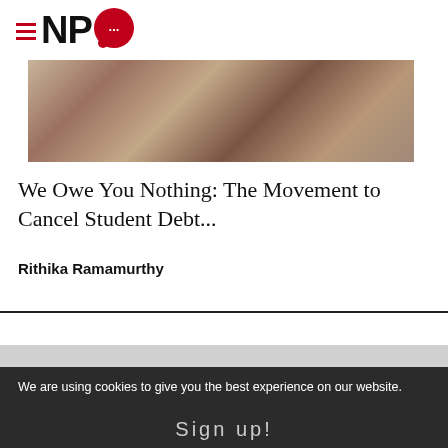NPQ
[Figure (photo): Partial view of a person, warm brown tones, blurred background.]
We Owe You Nothing: The Movement to Cancel Student Debt...
Rithika Ramamurthy
We are using cookies to give you the best experience on our website.
Sign up!